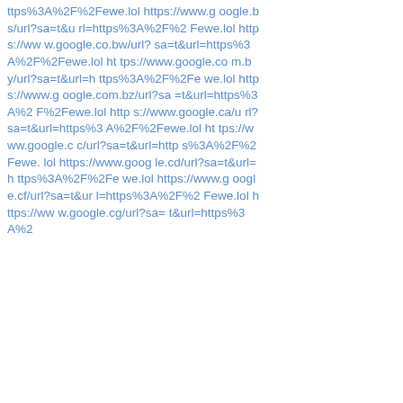ttps%3A%2F%2Fewe.lol https://www.google.bs/url?sa=t&url=https%3A%2F%2Fewe.lol https://www.google.co.bw/url?sa=t&url=https%3A%2F%2Fewe.lol https://www.google.com.by/url?sa=t&url=https%3A%2F%2Fewe.lol https://www.google.com.bz/url?sa=t&url=https%3A%2F%2Fewe.lol https://www.google.ca/url?sa=t&url=https%3A%2F%2Fewe.lol https://www.google.cc/url?sa=t&url=https%3A%2F%2Fewe.lol https://www.google.cd/url?sa=t&url=https%3A%2F%2Fewe.lol https://www.google.cf/url?sa=t&url=https%3A%2F%2Fewe.lol https://www.google.cg/url?sa=t&url=https%3A%2